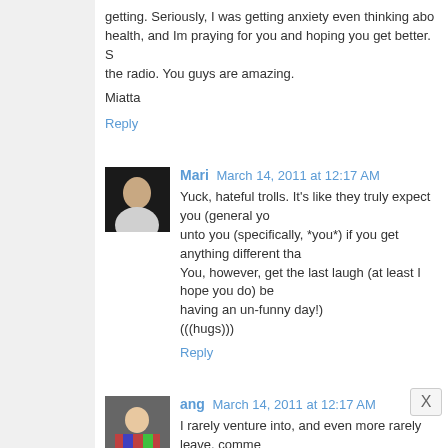getting. Seriously, I was getting anxiety even thinking about health, and Im praying for you and hoping you get better. the radio. You guys are amazing.
Miatta
Reply
Mari March 14, 2011 at 12:17 AM
Yuck, hateful trolls. It's like they truly expect you (general yo unto you (specifically, *you*) if you get anything different tha You, however, get the last laugh (at least I hope you do) be having an un-funny day!) (((hugs)))
Reply
ang March 14, 2011 at 12:17 AM
I rarely venture into, and even more rarely leave, comme CAKE needs to take a long hard look at themselves! It's C love CW and have shared it with many, many people (inc Epbot. Us geeky girls have to stick together. ;)
**having a hard time not making a joke w/ my WV--dic